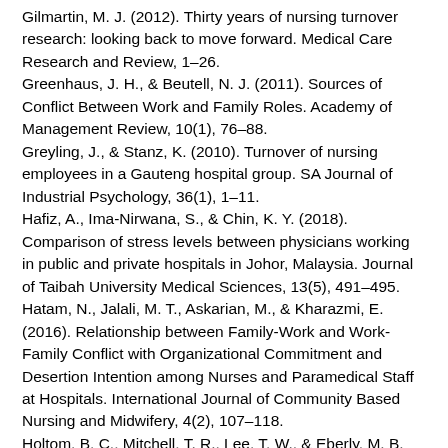Gilmartin, M. J. (2012). Thirty years of nursing turnover research: looking back to move forward. Medical Care Research and Review, 1–26.
Greenhaus, J. H., & Beutell, N. J. (2011). Sources of Conflict Between Work and Family Roles. Academy of Management Review, 10(1), 76–88.
Greyling, J., & Stanz, K. (2010). Turnover of nursing employees in a Gauteng hospital group. SA Journal of Industrial Psychology, 36(1), 1–11.
Hafiz, A., Ima-Nirwana, S., & Chin, K. Y. (2018). Comparison of stress levels between physicians working in public and private hospitals in Johor, Malaysia. Journal of Taibah University Medical Sciences, 13(5), 491–495.
Hatam, N., Jalali, M. T., Askarian, M., & Kharazmi, E. (2016). Relationship between Family-Work and Work-Family Conflict with Organizational Commitment and Desertion Intention among Nurses and Paramedical Staff at Hospitals. International Journal of Community Based Nursing and Midwifery, 4(2), 107–118.
Holtom, B. C., Mitchell, T. R., Lee, T. W., & Eberly, M. B. (2008). Turnover and Retention Research: A Glance at the Past, a Closer Review of the Present, and a Venture into the Future. Academy of Management Annals, 2(1), 231–274.